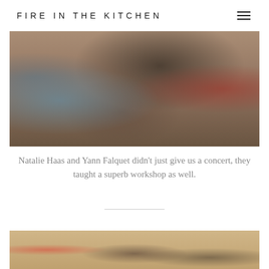FIRE IN THE KITCHEN
[Figure (photo): Group of people seated in a circle in a room, seen from above/behind, playing musical instruments at a workshop. People wearing blue, red, teal jackets.]
Natalie Haas and Yann Falquet didn’t just give us a concert, they taught a superb workshop as well.
[Figure (photo): Two musicians performing on stage. A heart poster visible on the left wall. One musician plays violin, another plays guitar and wears a hat.]